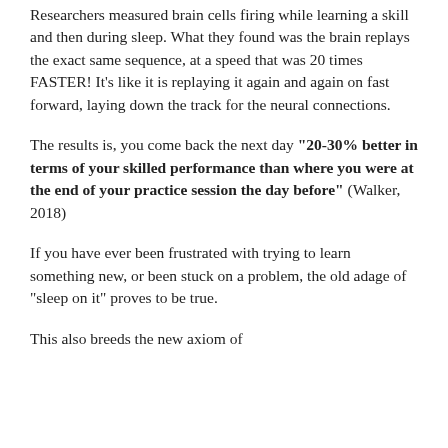Researchers measured brain cells firing while learning a skill and then during sleep. What they found was the brain replays the exact same sequence, at a speed that was 20 times FASTER! It's like it is replaying it again and again on fast forward, laying down the track for the neural connections.
The results is, you come back the next day "20-30% better in terms of your skilled performance than where you were at the end of your practice session the day before" (Walker, 2018)
If you have ever been frustrated with trying to learn something new, or been stuck on a problem, the old adage of "sleep on it" proves to be true.
This also breeds the new axiom of